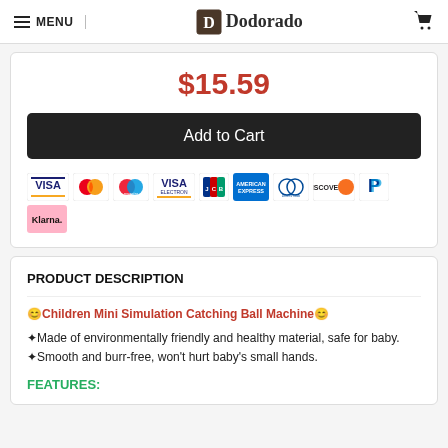MENU | Dodorado
$15.59
Add to Cart
[Figure (infographic): Payment method icons: Visa, Mastercard, Maestro, Visa (Electron), JCB, American Express, Diners Club, Discover, PayPal, Klarna]
PRODUCT DESCRIPTION
😊Children Mini Simulation Catching Ball Machine😊
✦Made of environmentally friendly and healthy material, safe for baby.
✦Smooth and burr-free, won't hurt baby's small hands.
FEATURES: